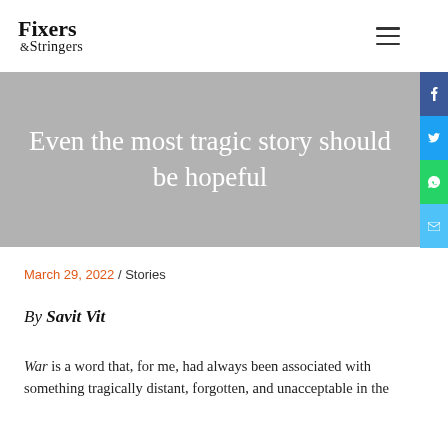Fixers & Stringers
Even the most tragic story should be hopeful
March 29, 2022 / Stories
By Savit Vit
War is a word that, for me, had always been associated with something tragically distant, forgotten, and unacceptable in the